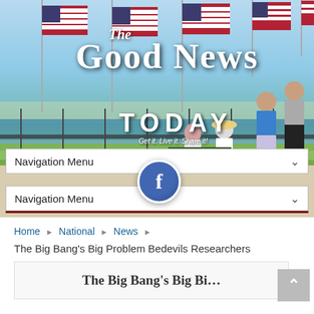[Figure (photo): Header photo of The Good News Today website showing American flags, waterfront scene with people sitting on a bench and walking, with site title overlay reading 'The Good News Today' and tagline 'Get it. Live it. Share it!']
The Good News Today
[Figure (screenshot): Navigation Menu dropdown bar (top)]
[Figure (logo): Facebook icon - blue circle with white 'f']
[Figure (screenshot): Navigation Menu dropdown bar (bottom)]
Home ▶ National ▶ News ▶
The Big Bang's Big Problem Bedevils Researchers
[Figure (screenshot): Article box showing partial headline 'The Big Bang's Big Bi...']